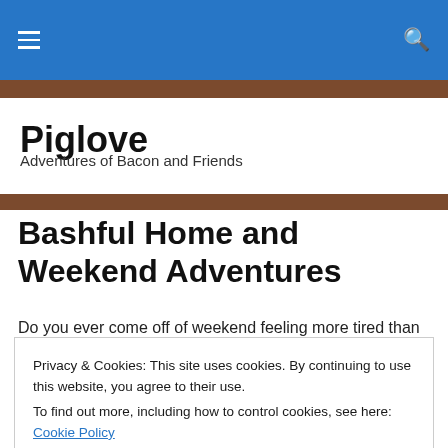Piglove — navigation and search bar
Piglove
Adventures of Bacon and Friends
Bashful Home and Weekend Adventures
Do you ever come off of weekend feeling more tired than
Privacy & Cookies: This site uses cookies. By continuing to use this website, you agree to their use.
To find out more, including how to control cookies, see here: Cookie Policy
home late from work one night and found a box sitting on